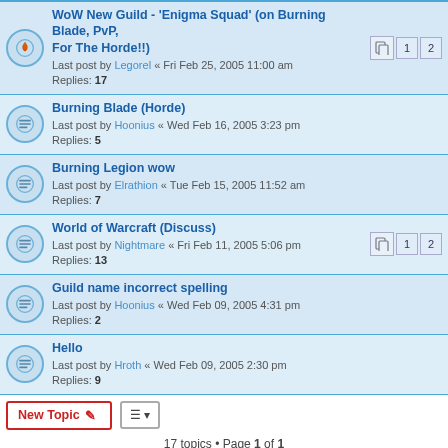WoW New Guild - 'Enigma Squad' (on Burning Blade, PvP, For The Horde!!) | Last post by Legorel « Fri Feb 25, 2005 11:00 am | Replies: 17 | Pages: 1, 2
Burning Blade (Horde) | Last post by Hoonius « Wed Feb 16, 2005 3:23 pm | Replies: 5
Burning Legion wow | Last post by Elrathion « Tue Feb 15, 2005 11:52 am | Replies: 7
World of Warcraft (Discuss) | Last post by Nightmare « Fri Feb 11, 2005 5:06 pm | Replies: 13 | Pages: 1, 2
Guild name incorrect spelling | Last post by Hoonius « Wed Feb 09, 2005 4:31 pm | Replies: 2
Hello | Last post by Hroth « Wed Feb 09, 2005 2:30 pm | Replies: 9
17 topics • Page 1 of 1
FORUM PERMISSIONS